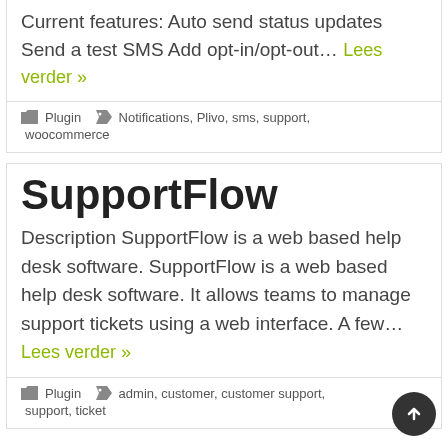Current features: Auto send status updates Send a test SMS Add opt-in/opt-out… Lees verder »
Plugin   Notifications, Plivo, sms, support, woocommerce
SupportFlow
Description SupportFlow is a web based help desk software. SupportFlow is a web based help desk software. It allows teams to manage support tickets using a web interface. A few… Lees verder »
Plugin   admin, customer, customer support, support, ticket